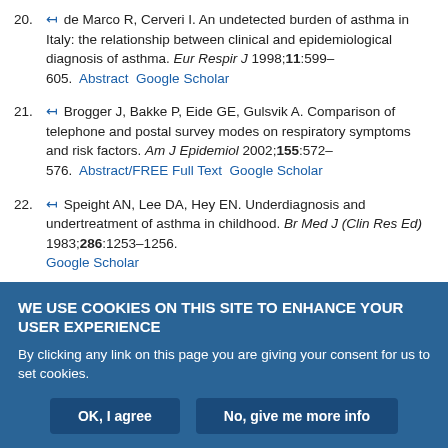20. de Marco R, Cerveri I. An undetected burden of asthma in Italy: the relationship between clinical and epidemiological diagnosis of asthma. Eur Respir J 1998;11:599–605. Abstract  Google Scholar
21. Brogger J, Bakke P, Eide GE, Gulsvik A. Comparison of telephone and postal survey modes on respiratory symptoms and risk factors. Am J Epidemiol 2002;155:572–576. Abstract/FREE Full Text  Google Scholar
22. Speight AN, Lee DA, Hey EN. Underdiagnosis and undertreatment of asthma in childhood. Br Med J (Clin Res Ed) 1983;286:1253–1256. Google Scholar
23. Nystad W, Magnus P, Gulsvik A, Skarpaas IJ, Carlsen KH. Changing prevalence of asthma in school children: evidence for diagnostic changes…
WE USE COOKIES ON THIS SITE TO ENHANCE YOUR USER EXPERIENCE
By clicking any link on this page you are giving your consent for us to set cookies.